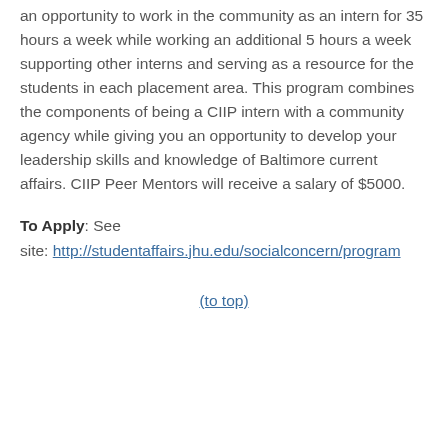an opportunity to work in the community as an intern for 35 hours a week while working an additional 5 hours a week supporting other interns and serving as a resource for the students in each placement area. This program combines the components of being a CIIP intern with a community agency while giving you an opportunity to develop your leadership skills and knowledge of Baltimore current affairs. CIIP Peer Mentors will receive a salary of $5000.
To Apply: See site: http://studentaffairs.jhu.edu/socialconcern/programs/ciip/peer-mentors/
(to top)